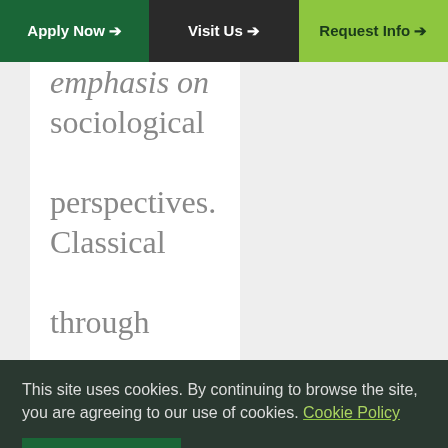Apply Now → | Visit Us → | Request Info →
emphasis on sociological perspectives. Classical through contemporary criminological theories will be
This site uses cookies. By continuing to browse the site, you are agreeing to our use of cookies. Cookie Policy
OK, I AGREE